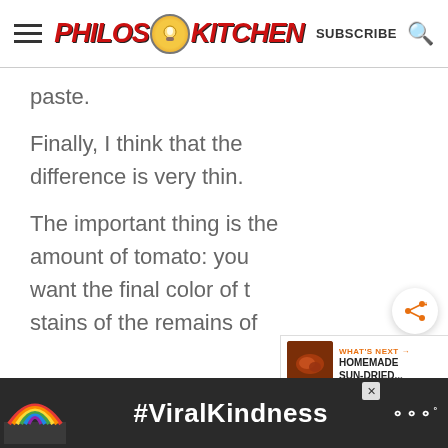PHILOS KITCHEN — SUBSCRIBE
paste.
Finally, I think that the difference is very thin.
The important thing is the amount of tomato: you want the final color of the stains of the remains of
[Figure (screenshot): What's Next thumbnail showing homemade sun-dried tomatoes with label HOMEMADE SUN-DRIED...]
[Figure (screenshot): Advertisement banner with rainbow illustration and #ViralKindness text on dark background]